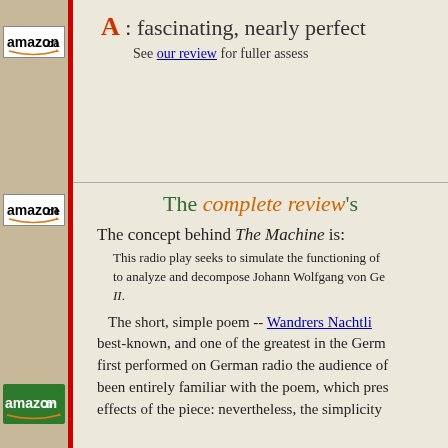[Figure (logo): Amazon.ca logo - white background with border]
[Figure (logo): Amazon.de logo - white background with border]
[Figure (logo): Amazon.fr logo - green background]
A : fascinating, nearly perfect
See our review for fuller assessment
The complete review's
The concept behind The Machine is:
This radio play seeks to simulate the functioning of to analyze and decompose Johann Wolfgang von Ge II.
The short, simple poem -- Wandrers Nachtli best-known, and one of the greatest in the Germ first performed on German radio the audience of been entirely familiar with the poem, which pres effects of the piece: nevertheless, the simplicity